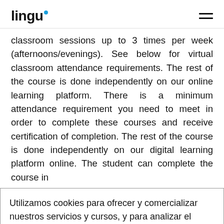lingu
classroom sessions up to 3 times per week (afternoons/evenings). See below for virtual classroom attendance requirements. The rest of the course is done independently on our online learning platform. There is a minimum attendance requirement you need to meet in order to complete these courses and receive certification of completion. The rest of the course is done independently on our digital learning platform online. The student can complete the course in
Utilizamos cookies para ofrecer y comercializar nuestros servicios y cursos, y para analizar el tráfico en nuestra web. Obtén más información sobre privacidad. Si continúas navegando en nuestra web, estás aceptando su uso. OK